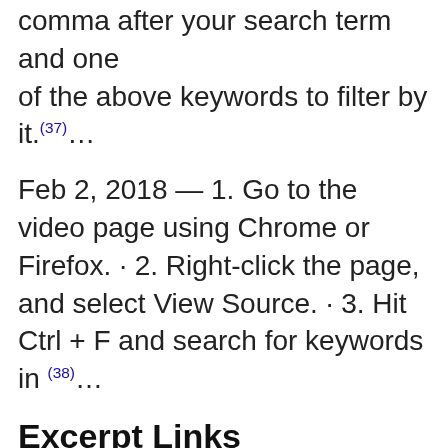comma after your search term and one of the above keywords to filter by it.(37)...
Feb 2, 2018 — 1. Go to the video page using Chrome or Firefox. · 2. Right-click the page, and select View Source. · 3. Hit Ctrl + F and search for keywords in (38)...
Excerpt Links
(1). How to perform a keyword search within YouTube comments ...
(2). How to Search Comments on YouTube Quickly? Here're Two ...
(3). How to search YouTube comments? –